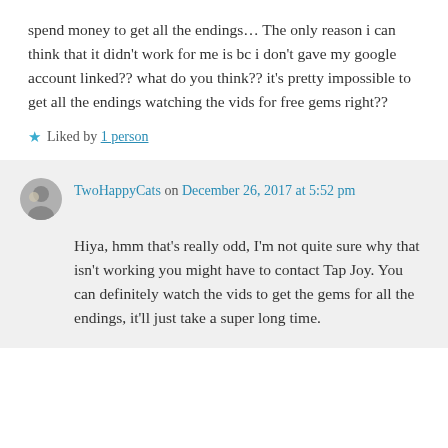spend money to get all the endings… The only reason i can think that it didn't work for me is bc i don't gave my google account linked?? what do you think?? it's pretty impossible to get all the endings watching the vids for free gems right??
★ Liked by 1 person
TwoHappyCats on December 26, 2017 at 5:52 pm
Hiya, hmm that's really odd, I'm not quite sure why that isn't working you might have to contact Tap Joy. You can definitely watch the vids to get the gems for all the endings, it'll just take a super long time.